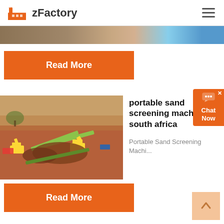zFactory
[Figure (photo): Partial top strip of an outdoor construction/mining site image]
Read More
[Figure (other): Chat Now widget button on right side]
[Figure (photo): Aerial view of a sand screening/mining industrial site with yellow excavators and conveyor belts on red earth]
portable sand screening machine in south africa
Portable Sand Screening Machi...
Read More